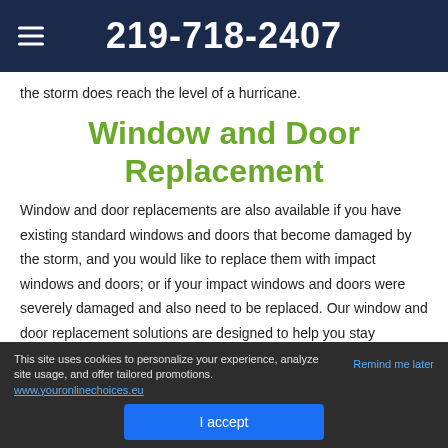219-718-2407
the storm does reach the level of a hurricane.
Window and Door Replacement
Window and door replacements are also available if you have existing standard windows and doors that become damaged by the storm, and you would like to replace them with impact windows and doors; or if your impact windows and doors were severely damaged and also need to be replaced. Our window and door replacement solutions are designed to help you stay
This site uses cookies to personalize your experience, analyze site usage, and offer tailored promotions. www.youronlinechoices.eu
I accept